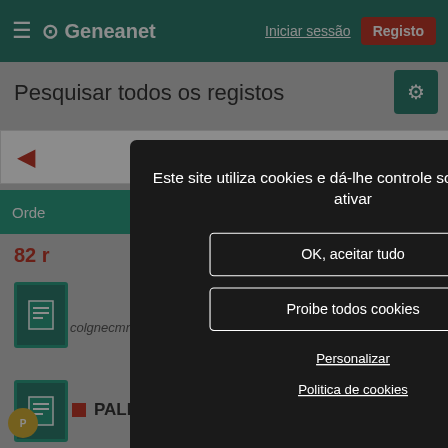Geneanet — Iniciar sessão | Registo
Pesquisar todos os registos
Orde... 0
82 r...
colgnecmnycueath
PALERMO Gina
Este site utiliza cookies e dá-lhe controle sobre o que quer ativar
OK, aceitar tudo
Proibe todos cookies
Personalizar
Politica de cookies